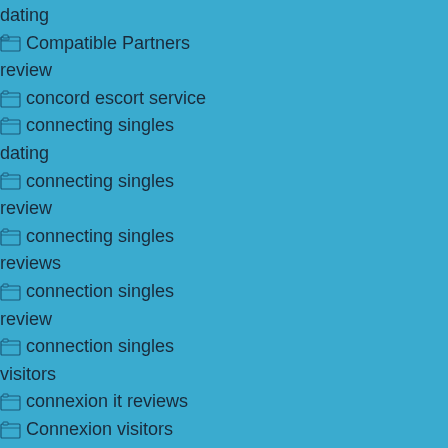dating
Compatible Partners
review
concord escort service
connecting singles
dating
connecting singles
review
connecting singles
reviews
connection singles
review
connection singles
visitors
connexion it reviews
Connexion visitors
coral-springs escort
corpus-christi escort